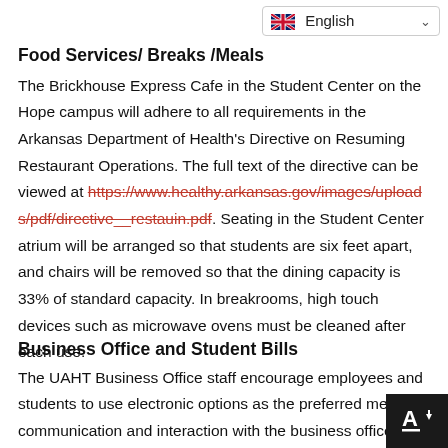[Figure (screenshot): Language selector dropdown showing UK flag and 'English' text with chevron]
Food Services/ Breaks /Meals
The Brickhouse Express Cafe in the Student Center on the Hope campus will adhere to all requirements in the Arkansas Department of Health's Directive on Resuming Restaurant Operations. The full text of the directive can be viewed at https://www.healthy.arkansas.gov/images/uploads/pdf/directive__restauin.pdf. Seating in the Student Center atrium will be arranged so that students are six feet apart, and chairs will be removed so that the dining capacity is 33% of standard capacity. In breakrooms, high touch devices such as microwave ovens must be cleaned after each use.
Business Office and Student Bills
The UAHT Business Office staff encourage employees and students to use electronic options as the preferred means of communication and interaction with the business office. If you need to make a cash payment on the Hope campus, ring the bell located at the service window in the Administration Building, and the business office staff will...